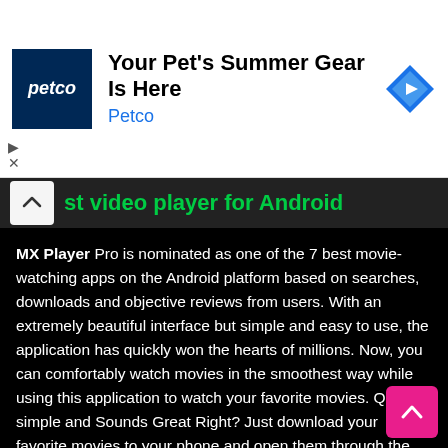[Figure (screenshot): Petco advertisement banner: Petco logo (blue square with white italic 'petco' text), headline 'Your Pet's Summer Gear Is Here', subtext 'Petco' in blue, and a blue diamond navigation icon on the right. Play and close control icons on the left.]
st video player for Android
MX Player Pro is nominated as one of the 7 best movie-watching apps on the Android platform based on searches, downloads and objective reviews from users. With an extremely beautiful interface but simple and easy to use, the application has quickly won the hearts of millions. Now, you can comfortably watch movies in the smoothest way while using this application to watch your favorite movies. Quite simple and Sounds Great Right? Just download your favorite movies to your phone and open them through the pro version of this app, and watch them all offline.